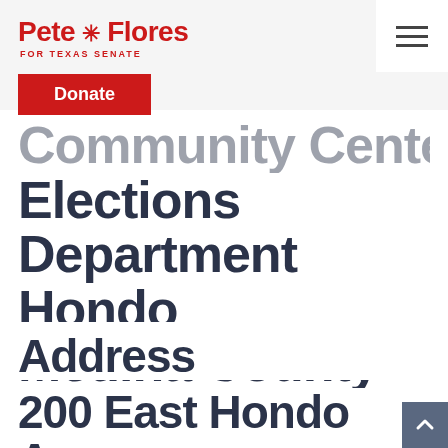Pete Flores For Texas Senate
Community Center Elections Department Hondo Medina County Bldg. Pct 2
Address
200 East Hondo Ave Devine, TX 78016